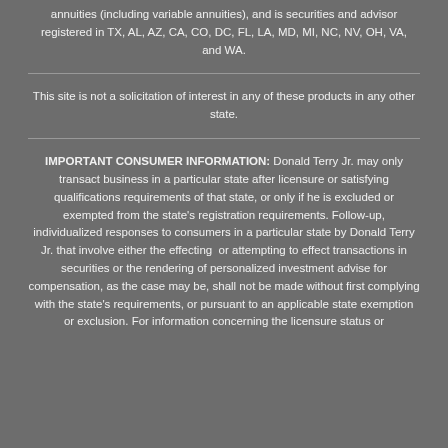annuities (including variable annuities), and is securities and advisor registered in TX, AL, AZ, CA, CO, DC, FL, LA, MD, MI, NC, NV, OH, VA, and WA.
This site is not a solicitation of interest in any of these products in any other state.
IMPORTANT CONSUMER INFORMATION: Donald Terry Jr. may only transact business in a particular state after licensure or satisfying qualifications requirements of that state, or only if he is excluded or exempted from the state's registration requirements. Follow-up, individualized responses to consumers in a particular state by Donald Terry Jr. that involve either the effecting or attempting to effect transactions in securities or the rendering of personalized investment advise for compensation, as the case may be, shall not be made without first complying with the state's requirements, or pursuant to an applicable state exemption or exclusion. For information concerning the licensure status or